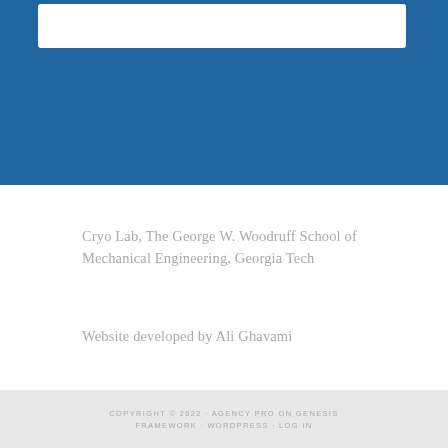[Figure (other): Blue banner header with white rounded box at top]
Cryo Lab, The George W. Woodruff School of Mechanical Engineering, Georgia Tech
Website developed by Ali Ghavami
COPYRIGHT © 2022 · AGENCY PRO ON GENESIS FRAMEWORK · WORDPRESS · LOG IN